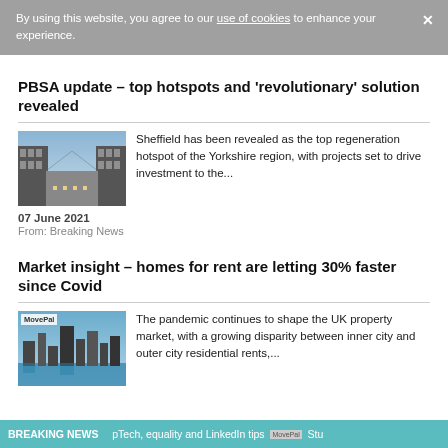By using this website, you agree to our use of cookies to enhance your experience.
PBSA update – top hotspots and 'revolutionary' solution revealed
[Figure (photo): Aerial/architectural view of a modern residential or student accommodation building]
Sheffield has been revealed as the top regeneration hotspot of the Yorkshire region, with projects set to drive investment to the...
07 June 2021
From: Breaking News
Market insight – homes for rent are letting 30% faster since Covid
[Figure (photo): MovePal logo placeholder with city skyline image]
The pandemic continues to shape the UK property market, with a growing disparity between inner city and outer city residential rents,...
BREAKING NEWS   pTech, equality and LinkedIn tips   MovePal   Stu